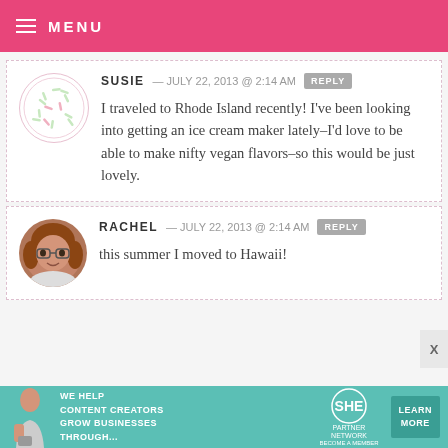MENU
SUSIE — JULY 22, 2013 @ 2:14 AM   REPLY
I traveled to Rhode Island recently! I've been looking into getting an ice cream maker lately–I'd love to be able to make nifty vegan flavors–so this would be just lovely.
RACHEL — JULY 22, 2013 @ 2:14 AM   REPLY
this summer I moved to Hawaii!
[Figure (infographic): SHE Partner Network advertisement banner: WE HELP CONTENT CREATORS GROW BUSINESSES THROUGH... with LEARN MORE button]